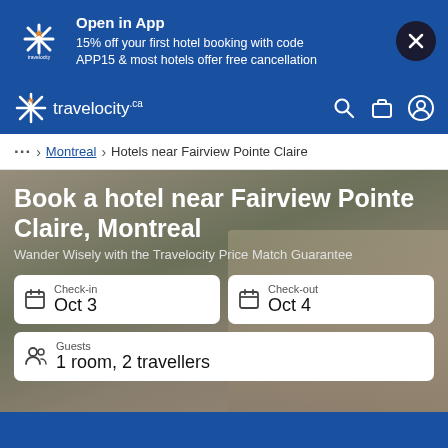[Figure (screenshot): Travelocity app promo banner with logo showing snowflake/star icon and text promoting 15% off first hotel booking with code APP15]
Open in App
15% off your first hotel booking with code APP15 & most hotels offer free cancellation
[Figure (logo): Travelocity navigation bar with logo, search icon, briefcase icon, and profile icon]
... > Montreal > Hotels near Fairview Pointe Claire
Book a hotel near Fairview Pointe Claire, Montreal
Wander Wisely with the Travelocity Price Match Guarantee
Check-in
Oct 3
Check-out
Oct 4
Guests
1 room, 2 travellers
Choose your dates